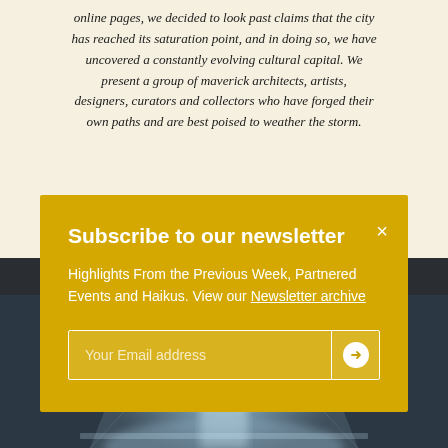online pages, we decided to look past claims that the city has reached its saturation point, and in doing so, we have uncovered a constantly evolving cultural capital. We present a group of maverick architects, artists, designers, curators and collectors who have forged their own paths and are best poised to weather the storm.
[Figure (screenshot): Blurred interior architectural photo showing a corridor with glowing blue-white light in the center, viewed in perspective, with dark side panels. Shown behind the newsletter subscription modal overlay.]
Subscribe to our newsletter
Highlights From the Previous Week, Partnered Events and Haikus. View our Newsletter archive